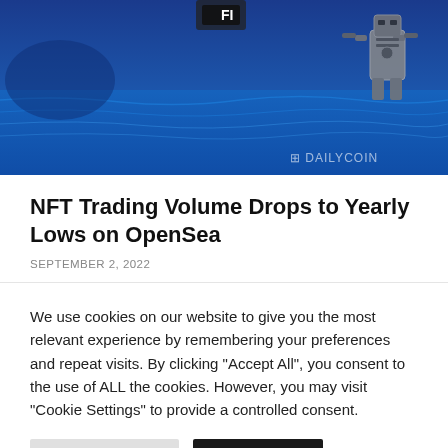[Figure (photo): Hero image showing an underwater or ocean scene in blue tones with a mechanical/robotic figure on the right side, and a watermark reading 'DAILYCOIN' at the bottom right.]
NFT Trading Volume Drops to Yearly Lows on OpenSea
SEPTEMBER 2, 2022
We use cookies on our website to give you the most relevant experience by remembering your preferences and repeat visits. By clicking "Accept All", you consent to the use of ALL the cookies. However, you may visit "Cookie Settings" to provide a controlled consent.
Cookie Settings | Accept All
Read our Cookie Statement